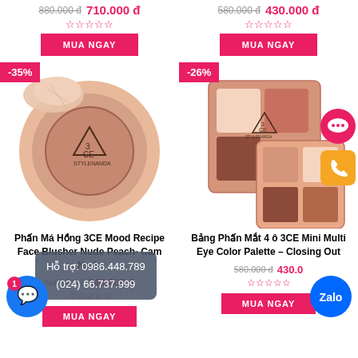880.000 đ  710.000 đ
580.000 đ  430.000 đ
MUA NGAY
MUA NGAY
-35%
[Figure (photo): 3CE blush compact powder - Nude Peach]
-26%
[Figure (photo): 3CE Mini Multi Eye Color Palette]
Phấn Má Hồng 3CE Mood Recipe Face Blusher Nude Peach- Cam Nude
Bảng Phấn Mắt 4 ô 3CE Mini Multi Eye Color Palette – Closing Out
580.000 đ  340.000 đ
580.000 đ  430.000 đ
Hỗ trợ: 0986.448.789
(024) 66.737.999
MUA NGAY
MUA NGAY